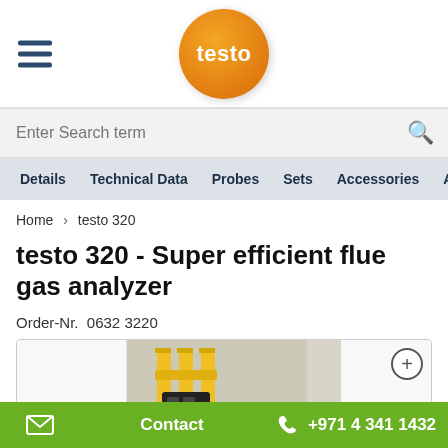testo (logo)
Enter Search term
Details  Technical Data  Probes  Sets  Accessories  Appli
Home > testo 320
testo 320 - Super efficient flue gas analyzer
Order-Nr.  0632 3220
[Figure (photo): Product image area showing testo 320 flue gas analyzer and yellow gas pipes/fittings against a grey background, with a plus (+) button on the right side.]
Contact  +971 4 341 1432